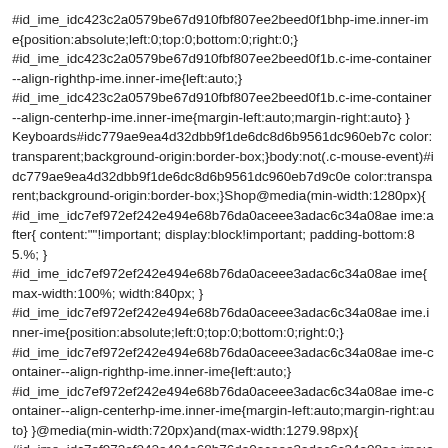#id_ime_idc423c2a0579be67d910fbf807ee2beed0f1bhp-ime.inner-ime{position:absolute;left:0;top:0;bottom:0;right:0;} #id_ime_idc423c2a0579be67d910fbf807ee2beed0f1b.c-ime-container--align-righthp-ime.inner-ime{left:auto;} #id_ime_idc423c2a0579be67d910fbf807ee2beed0f1b.c-ime-container--align-centerhp-ime.inner-ime{margin-left:auto;margin-right:auto} } Keyboards#idc779ae9ea4d32dbb9f1de6dc8d6b9561dc960eb7c color:transparent;background-origin:border-box;}body:not(.c-mouse-event)#idc779ae9ea4d32dbb9f1de6dc8d6b9561dc960eb7d9c0e color:transparent;background-origin:border-box;}Shop@media(min-width:1280px){ #id_ime_idc7ef972ef242e494e68b76da0aceee3adac6c34a08ae ime:after{ content:""!important; display:block!important; padding-bottom:85.%; } #id_ime_idc7ef972ef242e494e68b76da0aceee3adac6c34a08ae ime{ max-width:100%; width:840px; } #id_ime_idc7ef972ef242e494e68b76da0aceee3adac6c34a08ae ime.inner-ime{position:absolute;left:0;top:0;bottom:0;right:0;} #id_ime_idc7ef972ef242e494e68b76da0aceee3adac6c34a08ae ime-container--align-righthp-ime.inner-ime{left:auto;} #id_ime_idc7ef972ef242e494e68b76da0aceee3adac6c34a08ae ime-container--align-centerhp-ime.inner-ime{margin-left:auto;margin-right:auto} }@media(min-width:720px)and(max-width:1279.98px){ #id_ime_idc7ef972ef242e494e68b76da0aceee3adac6c34a08ae ime:after{ content:""!important; display:block!important;